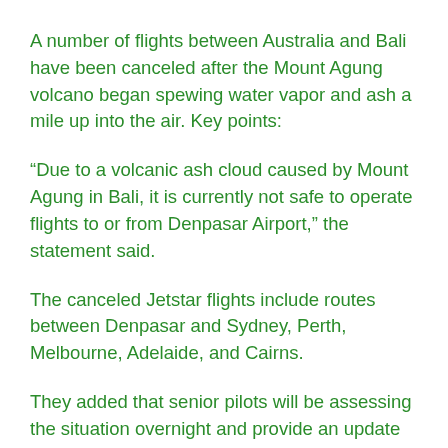A number of flights between Australia and Bali have been canceled after the Mount Agung volcano began spewing water vapor and ash a mile up into the air. Key points:
“Due to a volcanic ash cloud caused by Mount Agung in Bali, it is currently not safe to operate flights to or from Denpasar Airport,” the statement said.
The canceled Jetstar flights include routes between Denpasar and Sydney, Perth, Melbourne, Adelaide, and Cairns.
They added that senior pilots will be assessing the situation overnight and provide an update by 9:00 am Friday.